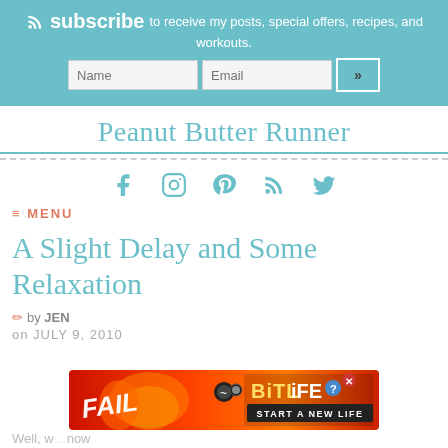subscribe to receive my posts, special offers, recipes, and workouts.
Peanut Butter Runner
[Figure (infographic): Social media icons row: Facebook, Instagram, Pinterest, RSS, Twitter in teal color]
≡ MENU
A Slight Delay and Some Relaxation
by JEN
on JULY 9, 2010
[Figure (photo): BitLife advertisement banner with flames and FAIL text]
Well, w... now